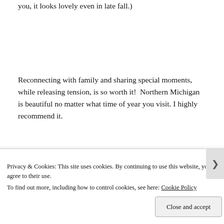you, it looks lovely even in late fall.)
Reconnecting with family and sharing special moments, while releasing tension, is so worth it!  Northern Michigan is beautiful no matter what time of year you visit. I highly recommend it.
I’m sitting in the condo as I’m writing this blogpost. Did I mention I love writing? So, of course, it’s one of the things I like to do when I relax. Reclining in a comfortable chair by the floor-
Privacy & Cookies: This site uses cookies. By continuing to use this website, you agree to their use.
To find out more, including how to control cookies, see here: Cookie Policy
Close and accept